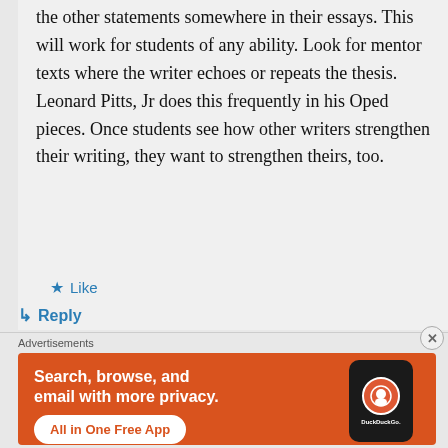the other statements somewhere in their essays. This will work for students of any ability. Look for mentor texts where the writer echoes or repeats the thesis. Leonard Pitts, Jr does this frequently in his Oped pieces. Once students see how other writers strengthen their writing, they want to strengthen theirs, too.
★ Like
↳ Reply
Advertisements
[Figure (illustration): DuckDuckGo advertisement banner with orange background. Text reads: 'Search, browse, and email with more privacy. All in One Free App'. Shows a smartphone with DuckDuckGo logo.]